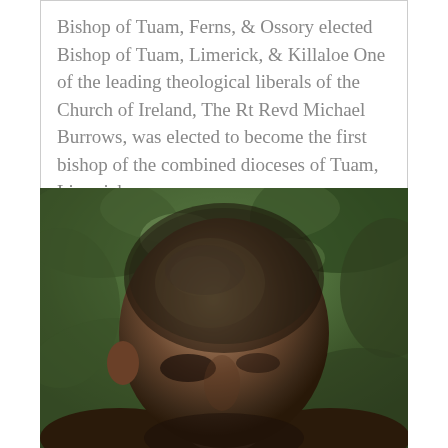Bishop of Tuam, Ferns, & Ossory elected Bishop of Tuam, Limerick, & Killaloe One of the leading theological liberals of the Church of Ireland, The Rt Revd Michael Burrows, was elected to become the first bishop of the combined dioceses of Tuam, Limerick,...
[Figure (photo): Close-up portrait photo of a Black man with a closely shaved head, photographed from slightly below and to the side, against a background of green foliage/trees. The image is cropped to show the head and upper shoulders.]